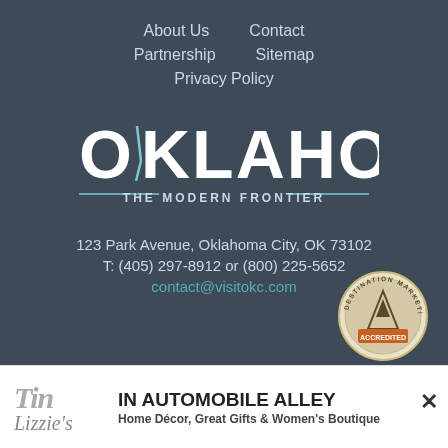About Us   Contact   Partnership   Sitemap   Privacy Policy
[Figure (logo): Oklahoma City - The Modern Frontier logo with stylized OK letters and decorative lines]
123 Park Avenue, Oklahoma City, OK 73102
T: (405) 297-8912 or (800) 225-5652
contact@visitokc.com
[Figure (logo): Destination Marketing Accredited circular badge/seal]
[Figure (logo): Tin Lizzie's advertisement - IN AUTOMOBILE ALLEY - Home Décor, Great Gifts & Women's Boutique]